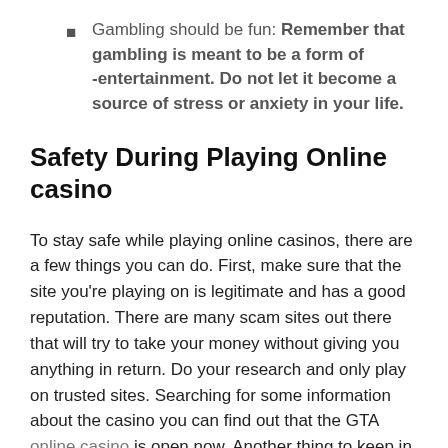Gambling should be fun: Remember that gambling is meant to be a form of -entertainment. Do not let it become a source of stress or anxiety in your life.
Safety During Playing Online casino
To stay safe while playing online casinos, there are a few things you can do. First, make sure that the site you're playing on is legitimate and has a good reputation. There are many scam sites out there that will try to take your money without giving you anything in return. Do your research and only play on trusted sites. Searching for some information about the casino you can find out that the GTA online casino is open now. Another thing to keep in mind is to never share your personal information with anyone. This includes your name, address, email address,